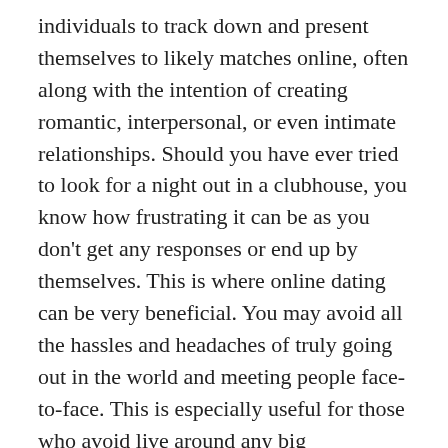individuals to track down and present themselves to likely matches online, often along with the intention of creating romantic, interpersonal, or even intimate relationships. Should you have ever tried to look for a night out in a clubhouse, you know how frustrating it can be as you don't get any responses or end up by themselves. This is where online dating can be very beneficial. You may avoid all the hassles and headaches of truly going out in the world and meeting people face-to-face. This is especially useful for those who avoid live around any big metropolitan areas yet would continue to like to connect with someone they will find desirable.
There are various internet dating apps available for both iPhone and Google android devices. The benefit of these apps is that you don't have to download these people on your phones; you can simply use